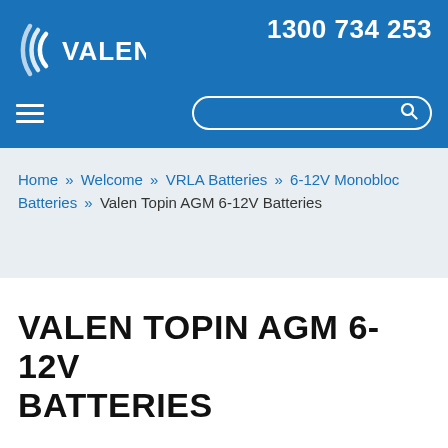1300 734 253
[Figure (logo): Valen company logo — white circular swoosh arcs with VALEN text in white on blue background]
Home » Welcome » VRLA Batteries » 6-12V Monobloc Batteries » Valen Topin AGM 6-12V Batteries
VALEN TOPIN AGM 6-12V BATTERIES